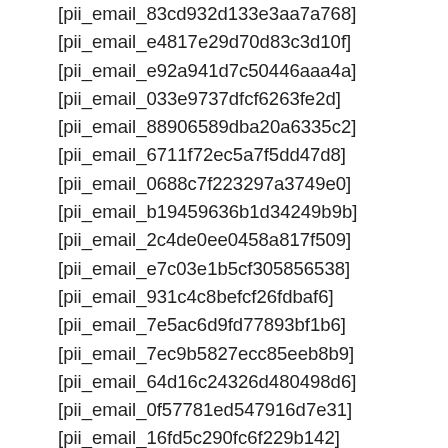[pii_email_83cd932d133e3aa7a768]
[pii_email_e4817e29d70d83c3d10f]
[pii_email_e92a941d7c50446aaa4a]
[pii_email_033e9737dfcf6263fe2d]
[pii_email_88906589dba20a6335c2]
[pii_email_6711f72ec5a7f5dd47d8]
[pii_email_0688c7f223297a3749e0]
[pii_email_b19459636b1d34249b9b]
[pii_email_2c4de0ee0458a817f509]
[pii_email_e7c03e1b5cf305856538]
[pii_email_931c4c8befcf26fdbaf6]
[pii_email_7e5ac6d9fd77893bf1b6]
[pii_email_7ec9b5827ecc85eeb8b9]
[pii_email_64d16c24326d480498d6]
[pii_email_0f57781ed547916d7e31]
[pii_email_16fd5c290fc6f229b142]
[pii_email_455449faaed25c649a60]
[pii_email_1a57010f7b028f8cb442]
[pii_email_5992ed6c717eb8d669f8]